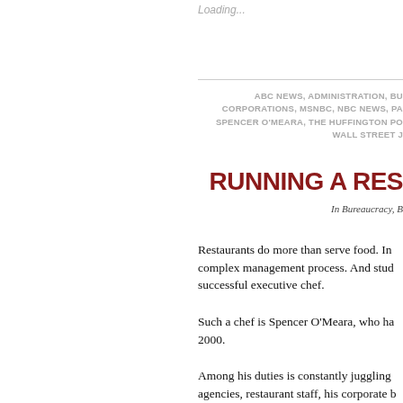Loading...
ABC NEWS, ADMINISTRATION, BU... CORPORATIONS, MSNBC, NBC NEWS, PA... SPENCER O'MEARA, THE HUFFINGTON PO... WALL STREET J...
RUNNING A RES...
In Bureaucracy, B...
Restaurants do more than serve food. In... complex management process. And stude... successful executive chef.
Such a chef is Spencer O'Meara, who ha... 2000.
Among his duties is constantly juggling... agencies, restaurant staff, his corporate b...